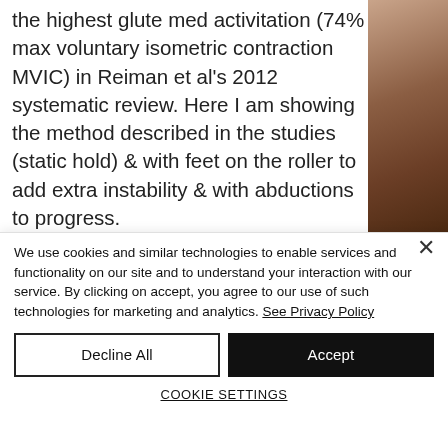the highest glute med activitation (74% max voluntary isometric contraction MVIC) in Reiman et al's 2012 systematic review. Here I am showing the method described in the studies (static hold) & with feet on the roller to add extra instability & with abductions to progress. ▫Hip abductions: these show 56%
[Figure (photo): A photo showing a close-up of skin/body area in brown tones, partially visible on the right side of the page.]
We use cookies and similar technologies to enable services and functionality on our site and to understand your interaction with our service. By clicking on accept, you agree to our use of such technologies for marketing and analytics. See Privacy Policy
Decline All
Accept
COOKIE SETTINGS